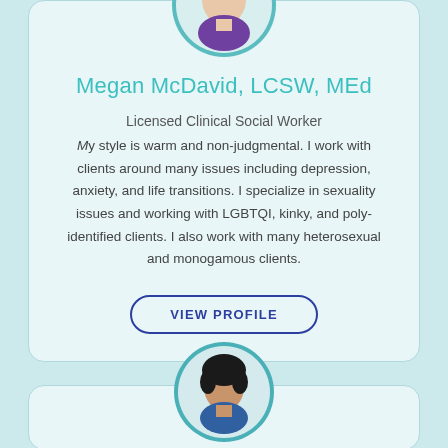[Figure (photo): Circular profile photo of Megan McDavid with teal border, woman wearing purple top]
Megan McDavid, LCSW, MEd
Licensed Clinical Social Worker
My style is warm and non-judgmental. I work with clients around many issues including depression, anxiety, and life transitions. I specialize in sexuality issues and working with LGBTQI, kinky, and poly-identified clients. I also work with many heterosexual and monogamous clients.
VIEW PROFILE
[Figure (photo): Circular profile photo of second therapist, partially visible at bottom of page, with teal border]